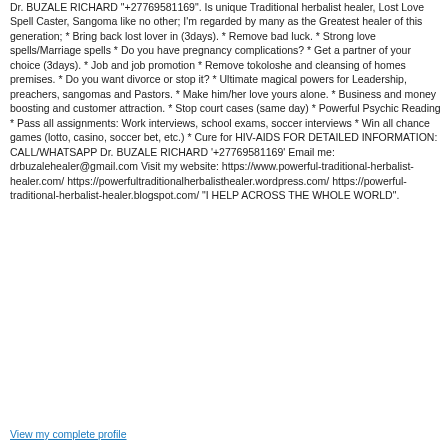Dr. BUZALE RICHARD "+27769581169". Is unique Traditional herbalist healer, Lost Love Spell Caster, Sangoma like no other; I'm regarded by many as the Greatest healer of this generation; * Bring back lost lover in (3days). * Remove bad luck. * Strong love spells/Marriage spells * Do you have pregnancy complications? * Get a partner of your choice (3days). * Job and job promotion * Remove tokoloshe and cleansing of homes premises. * Do you want divorce or stop it? * Ultimate magical powers for Leadership, preachers, sangomas and Pastors. * Make him/her love yours alone. * Business and money boosting and customer attraction. * Stop court cases (same day) * Powerful Psychic Reading * Pass all assignments: Work interviews, school exams, soccer interviews * Win all chance games (lotto, casino, soccer bet, etc.) * Cure for HIV-AIDS FOR DETAILED INFORMATION: CALL/WHATSAPP Dr. BUZALE RICHARD '+27769581169' Email me: drbuzalehealer@gmail.com Visit my website: https://www.powerful-traditional-herbalist-healer.com/ https://powerfultraditionalherbalisthealer.wordpress.com/ https://powerful-traditional-herbalist-healer.blogspot.com/ "I HELP ACROSS THE WHOLE WORLD".
View my complete profile